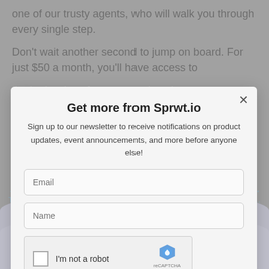one of our trusty agents, who will walk you through every single step.
Don't wait another second to jump on board. For just $50 a month, you'll have access to the intricacies of your operations in ways you never thought possible. And better yet, if you... off you...
Get more from Sprwt.io
Sign up to our newsletter to receive notifications on product updates, event announcements, and more before anyone else!
Email
Name
I'm not a robot
SUBSCRIBE